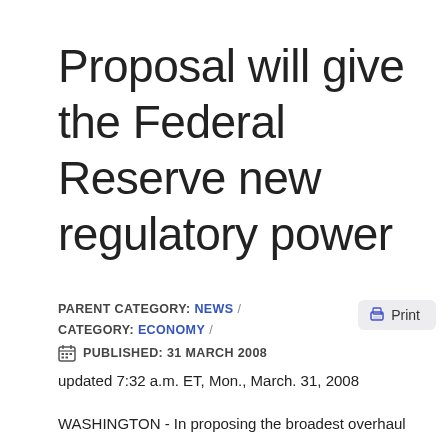Proposal will give the Federal Reserve new regulatory power
PARENT CATEGORY: NEWS /
CATEGORY: ECONOMY /
PUBLISHED: 31 MARCH 2008
updated 7:32 a.m. ET, Mon., March. 31, 2008
WASHINGTON - In proposing the broadest overhaul